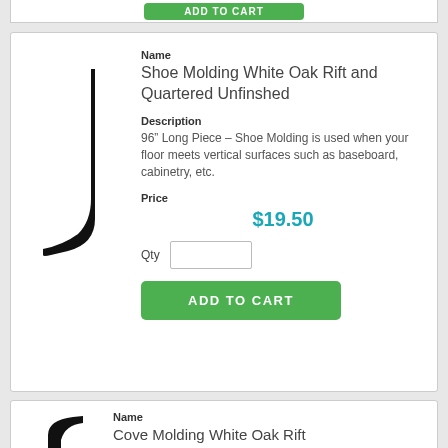[Figure (other): Green Add to Cart button (partial, top of page)]
[Figure (illustration): Black silhouette of shoe molding profile shape]
Name
Shoe Molding White Oak Rift and Quartered Unfinshed
Description
96" Long Piece – Shoe Molding is used when your floor meets vertical surfaces such as baseboard, cabinetry, etc.
Price
$19.50
Qty
[Figure (other): Green ADD TO CART button]
[Figure (illustration): Black silhouette of cove molding profile shape (partial)]
Name
Cove Molding White Oak Rift